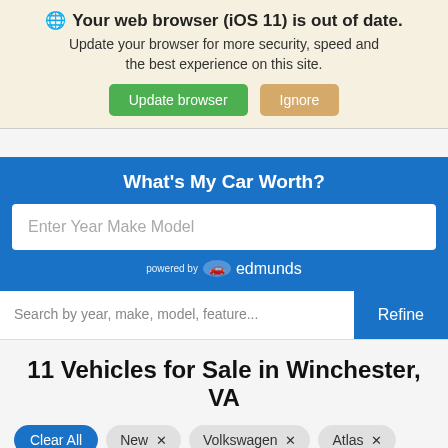🌐 Your web browser (iOS 11) is out of date. Update your browser for more security, speed and the best experience on this site. [Update browser] [Ignore]
[Figure (screenshot): Blue widget with title 'What's My Car Worth?', an input field with placeholder 'Enter Year Make Model', and 'powered by edmunds' credit]
Search by year, make, model, feature...
Refine
11 Vehicles for Sale in Winchester, VA
Clear All  New ×  Volkswagen ×  Atlas ×